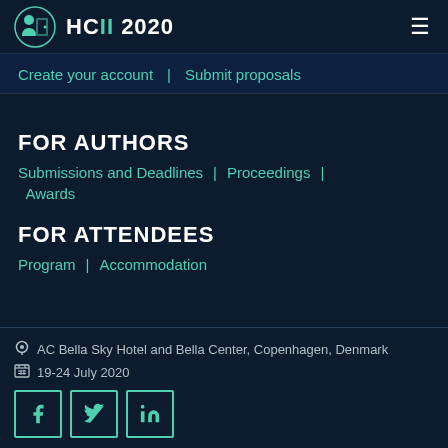HCII 2020
Create your account | Submit proposals
FOR AUTHORS
Submissions and Deadlines | Proceedings | Awards
FOR ATTENDEES
Program | Accommodation
AC Bella Sky Hotel and Bella Center, Copenhagen, Denmark
19-24 July 2020